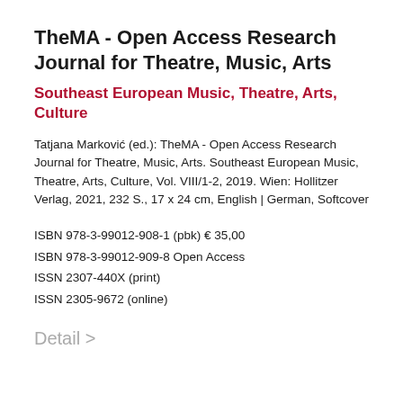TheMA - Open Access Research Journal for Theatre, Music, Arts
Southeast European Music, Theatre, Arts, Culture
Tatjana Marković (ed.): TheMA - Open Access Research Journal for Theatre, Music, Arts. Southeast European Music, Theatre, Arts, Culture, Vol. VIII/1-2, 2019. Wien: Hollitzer Verlag, 2021, 232 S., 17 x 24 cm, English | German, Softcover
ISBN 978-3-99012-908-1 (pbk) € 35,00
ISBN 978-3-99012-909-8 Open Access
ISSN 2307-440X (print)
ISSN 2305-9672 (online)
Detail >